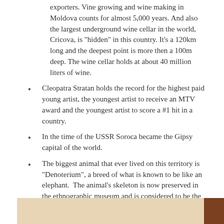exporters. Vine growing and wine making in Moldova counts for almost 5,000 years. And also the largest underground wine cellar in the world, Cricova, is "hidden" in this country. It's a 120km long and the deepest point is more then a 100m deep. The wine cellar holds at about 40 million liters of wine.
Cleopatra Stratan holds the record for the highest paid young artist, the youngest artist to receive an MTV award and the youngest artist to score a #1 hit in a country.
In the time of the USSR Soroca became the Gipsy capital of the world.
The biggest animal that ever lived on this territory is "Denoterium", a breed of what is known to be like an elephant.  The animal's skeleton is now preserved in the ethnographic museum and is considered to be the second biggest in Europe.
This is a really nice recipe perfect for hot summerdays accompanied with a nice salad! The herbs make it nice and fresh!
[Figure (photo): Bottom strip showing a beige/tan surface with a dark brown element on the right side, partial image of food or dish]